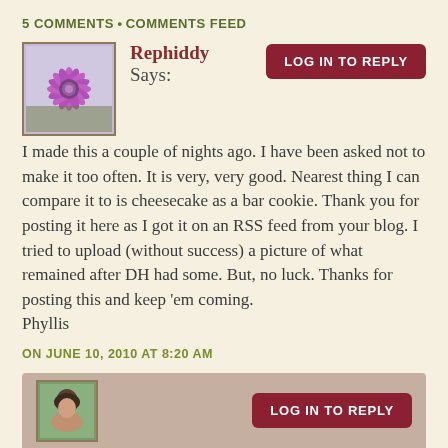5 COMMENTS • COMMENTS FEED
Rephiddy Says:
I made this a couple of nights ago. I have been asked not to make it too often. It is very, very good. Nearest thing I can compare it to is cheesecake as a bar cookie. Thank you for posting it here as I got it on an RSS feed from your blog. I tried to upload (without success) a picture of what remained after DH had some. But, no luck. Thanks for posting this and keep 'em coming.
Phyllis
ON JUNE 10, 2010 AT 8:20 AM
[Figure (photo): Avatar image of a purple spiky flower]
[Figure (photo): Avatar image of a person with dark hair]